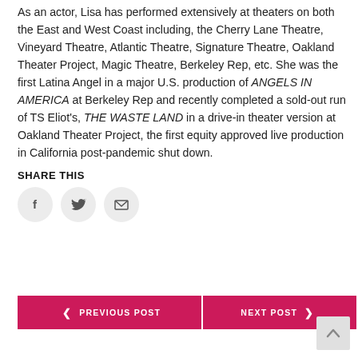As an actor, Lisa has performed extensively at theaters on both the East and West Coast including, the Cherry Lane Theatre, Vineyard Theatre, Atlantic Theatre, Signature Theatre, Oakland Theater Project, Magic Theatre, Berkeley Rep, etc. She was the first Latina Angel in a major U.S. production of ANGELS IN AMERICA at Berkeley Rep and recently completed a sold-out run of TS Eliot's, THE WASTE LAND in a drive-in theater version at Oakland Theater Project, the first equity approved live production in California post-pandemic shut down.
SHARE THIS
[Figure (other): Three circular social share icons: Facebook (f), Twitter (bird), and Email (envelope)]
[Figure (other): Navigation buttons: PREVIOUS POST (left arrow) and NEXT POST (right arrow), styled in dark pink/magenta]